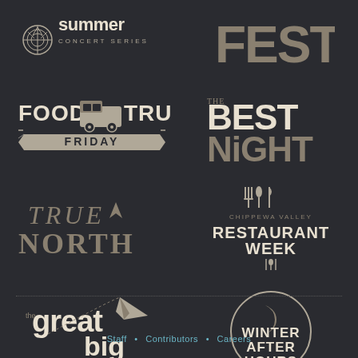[Figure (logo): Summer Concert Series logo with circular tree/record graphic]
[Figure (logo): FEST logo in large distressed block letters]
[Figure (logo): Food Truck Friday logo with illustrated food truck]
[Figure (logo): THE BEST NiGHT logo in mixed serif/sans typography]
[Figure (logo): TRUE NORTH logo in art-deco style lettering]
[Figure (logo): Chippewa Valley Restaurant Week logo with fork/spoon/knife icons]
[Figure (logo): the great big HuLLabaLoo! logo with paper airplane]
[Figure (logo): Winter After Hours logo in circle with moon]
Staff • Contributors • Careers